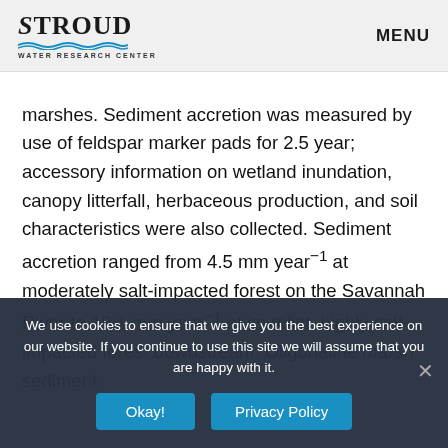Stroud Water Research Center | MENU
marshes. Sediment accretion was measured by use of feldspar marker pads for 2.5 year; accessory information on wetland inundation, canopy litterfall, herbaceous production, and soil characteristics were also collected. Sediment accretion ranged from 4.5 mm year⁻¹ at moderately salt-impacted forest on the Savannah River to 19.1 mm year⁻¹ at its relict, highly salt-impacted forest downstream. Oligohaline marsh sediment
We use cookies to ensure that we give you the best experience on our website. If you continue to use this site we will assume that you are happy with it.